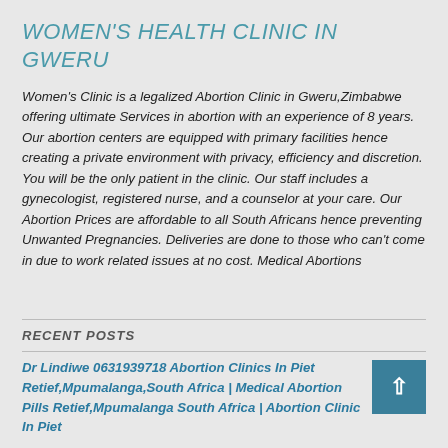WOMEN'S HEALTH CLINIC IN GWERU
Women's Clinic is a legalized Abortion Clinic in Gweru,Zimbabwe offering ultimate Services in abortion with an experience of 8 years. Our abortion centers are equipped with primary facilities hence creating a private environment with privacy, efficiency and discretion. You will be the only patient in the clinic. Our staff includes a gynecologist, registered nurse, and a counselor at your care. Our Abortion Prices are affordable to all South Africans hence preventing Unwanted Pregnancies. Deliveries are done to those who can't come in due to work related issues at no cost. Medical Abortions
RECENT POSTS
Dr Lindiwe 0631939718 Abortion Clinics In Piet Retief,Mpumalanga,South Africa | Medical Abortion Pills Retief,Mpumalanga South Africa | Abortion Clinic In Piet